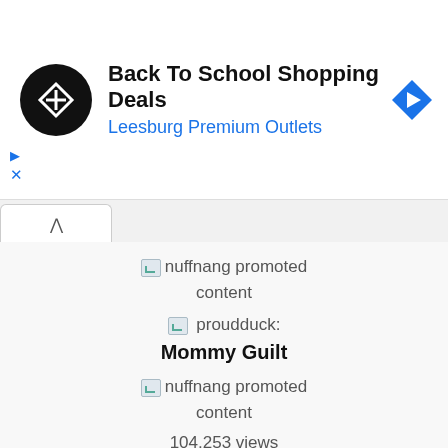[Figure (screenshot): Ad banner with circular black logo, ad title 'Back To School Shopping Deals', subtitle 'Leesburg Premium Outlets' in blue, and a blue diamond navigation icon on the right]
Back To School Shopping Deals
Leesburg Premium Outlets
[Figure (screenshot): Tab strip with upward chevron tab button]
nuffnang promoted content
proudduck:
Mommy Guilt
nuffnang promoted content
104,253 views